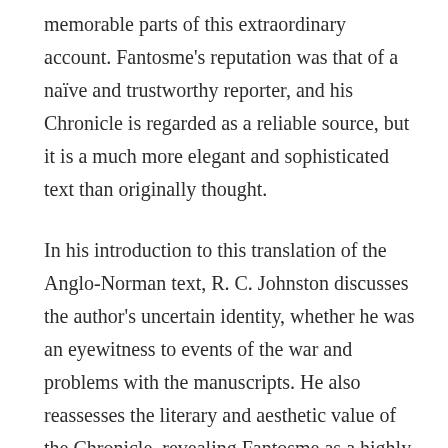memorable parts of this extraordinary account. Fantosme's reputation was that of a naïve and trustworthy reporter, and his Chronicle is regarded as a reliable source, but it is a much more elegant and sophisticated text than originally thought.
In his introduction to this translation of the Anglo-Norman text, R. C. Johnston discusses the author's uncertain identity, whether he was an eyewitness to events of the war and problems with the manuscripts. He also reassesses the literary and aesthetic value of the Chronicle, revealing Fantosme as a highly competent and talented story-teller capable of manipulating episodes for stylistic reasons.